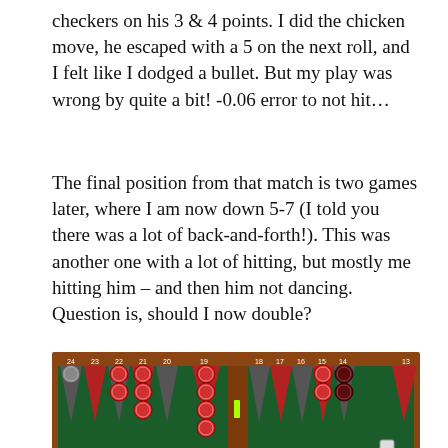checkers on his 3 & 4 points. I did the chicken move, he escaped with a 5 on the next roll, and I felt like I dodged a bullet. But my play was wrong by quite a bit! -0.06 error to not hit...
The final position from that match is two games later, where I am now down 5-7 (I told you there was a lot of back-and-forth!). This was another one with a lot of hitting, but mostly me hitting him – and then him not dancing. Question is, should I now double?
[Figure (other): Backgammon board showing a game position with red and dark checkers on various points. Point numbers visible: 24, 23, 22, 21, 20, 19 on left side and 18, 17, 16, 15, 14, 13 on right side.]